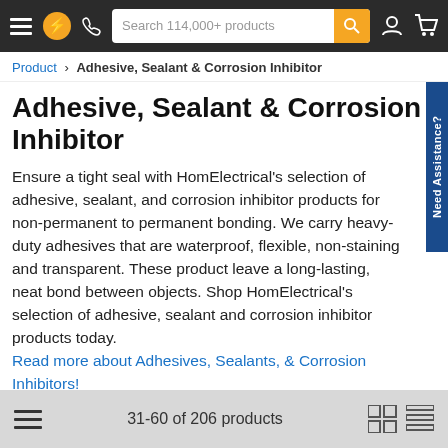Search 114,000+ products
Product › Adhesive, Sealant & Corrosion Inhibitor
Adhesive, Sealant & Corrosion Inhibitor
Ensure a tight seal with HomElectrical's selection of adhesive, sealant, and corrosion inhibitor products for non-permanent to permanent bonding. We carry heavy-duty adhesives that are waterproof, flexible, non-staining and transparent. These product leave a long-lasting, neat bond between objects. Shop HomElectrical's selection of adhesive, sealant and corrosion inhibitor products today. Read more about Adhesives, Sealants, & Corrosion Inhibitors!
31-60 of 206 products